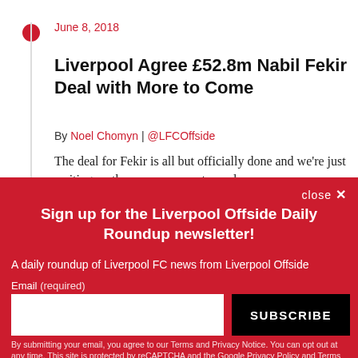June 8, 2018
Liverpool Agree £52.8m Nabil Fekir Deal with More to Come
By Noel Chomyn | @LFCOffside
The deal for Fekir is all but officially done and we're just waiting on the announcement—and
close ✕
Sign up for the Liverpool Offside Daily Roundup newsletter!
A daily roundup of Liverpool FC news from Liverpool Offside
Email (required)
SUBSCRIBE
By submitting your email, you agree to our Terms and Privacy Notice. You can opt out at any time. This site is protected by reCAPTCHA and the Google Privacy Policy and Terms of Service apply.